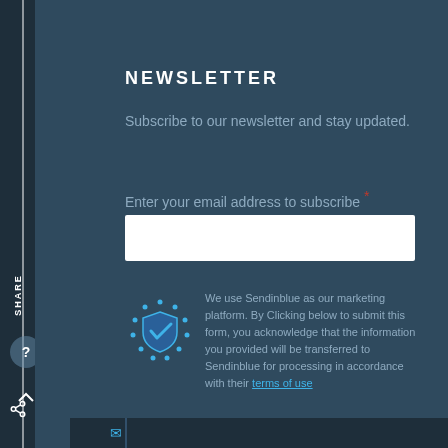NEWSLETTER
Subscribe to our newsletter and stay updated.
Enter your email address to subscribe *
We use Sendinblue as our marketing platform. By Clicking below to submit this form, you acknowledge that the information you provided will be transferred to Sendinblue for processing in accordance with their terms of use